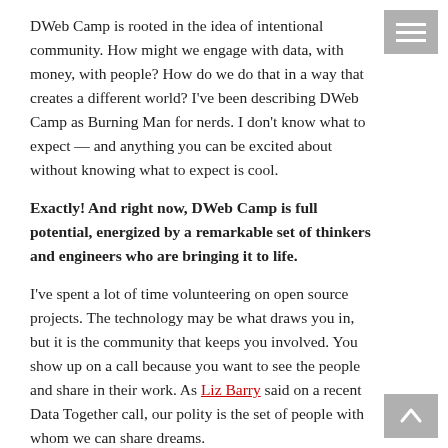DWeb Camp is rooted in the idea of intentional community. How might we engage with data, with money, with people? How do we do that in a way that creates a different world? I've been describing DWeb Camp as Burning Man for nerds. I don't know what to expect — and anything you can be excited about without knowing what to expect is cool.
Exactly! And right now, DWeb Camp is full potential, energized by a remarkable set of thinkers and engineers who are bringing it to life.
I've spent a lot of time volunteering on open source projects. The technology may be what draws you in, but it is the community that keeps you involved. You show up on a call because you want to see the people and share in their work. As Liz Barry said on a recent Data Together call, our polity is the set of people with whom we can share dreams.